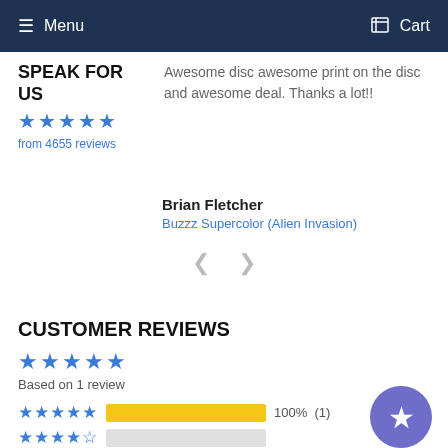Menu  Cart
SPEAK FOR US
★★★★★ from 4655 reviews
Awesome disc awesome print on the disc and awesome deal. Thanks a lot!!
Brian Fletcher
Buzzz Supercolor (Alien Invasion)
CUSTOMER REVIEWS
★★★★★ Based on 1 review
★★★★★ 100% (1)